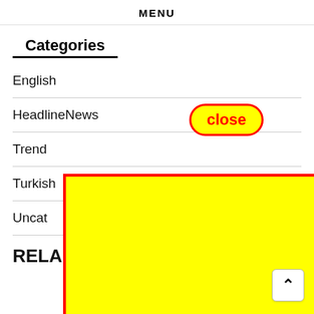MENU
Categories
English
HeadlineNews
Trend
Turkish
Uncat
[Figure (screenshot): A yellow rectangle with a red border overlaying the menu list, with a 'close' button in red text on yellow background with red rounded border above it.]
RELA